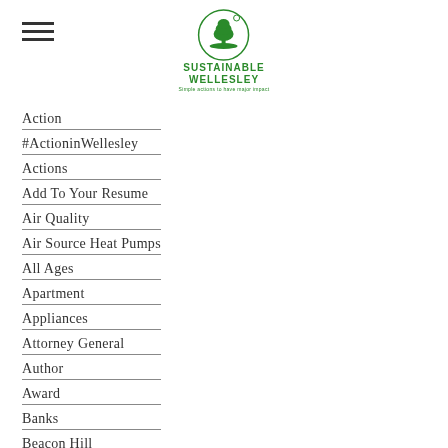[Figure (logo): Sustainable Wellesley logo: green tree in a circle with the text SUSTAINABLE WELLESLEY and tagline below]
Action
#ActioninWellesley
Actions
Add To Your Resume
Air Quality
Air Source Heat Pumps
All Ages
Apartment
Appliances
Attorney General
Author
Award
Banks
Beacon Hill